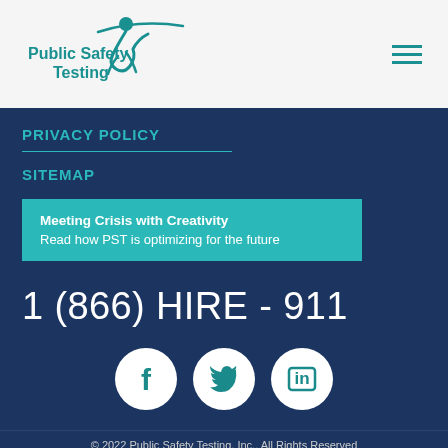[Figure (logo): Public Safety Testing logo with teal figure and text]
PRIVACY POLICY
SITEMAP
Meeting Crisis with Creativity
Read how PST is optimizing for the future
1 (866) HIRE - 911
[Figure (illustration): Social media icons: Facebook, Twitter, LinkedIn in white circles]
© 2022 Public Safety Testing, Inc., All Rights Reserved